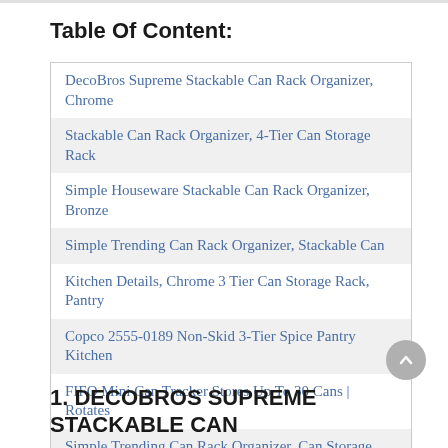Table Of Content:
DecoBros Supreme Stackable Can Rack Organizer, Chrome
Stackable Can Rack Organizer, 4-Tier Can Storage Rack
Simple Houseware Stackable Can Rack Organizer, Bronze
Simple Trending Can Rack Organizer, Stackable Can
Kitchen Details, Chrome 3 Tier Can Storage Rack, Pantry
Copco 2555-0189 Non-Skid 3-Tier Spice Pantry Kitchen
FIFO Mini Can Tracker Stores Up To 30 Cans | Rotates
Simple Trending Can Rack Organizer, Can Storage
Shelf Reliance Pantry Can Organizers Customizable Can
Lazy Susan Organizer Spice Rack Kitchen Storage With
1. DECOBROS SUPREME STACKABLE CAN